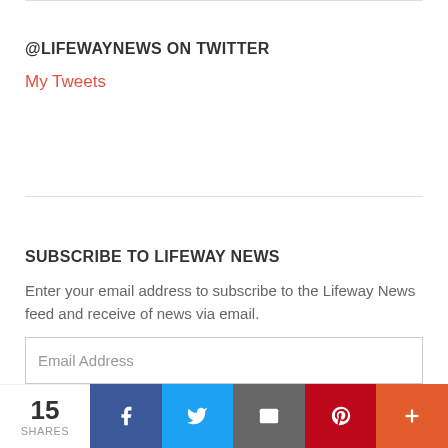@LIFEWAYNEWS ON TWITTER
My Tweets
SUBSCRIBE TO LIFEWAY NEWS
Enter your email address to subscribe to the Lifeway News feed and receive of news via email.
Email Address
15 SHARES | Facebook | Twitter | Email | Pinterest | More